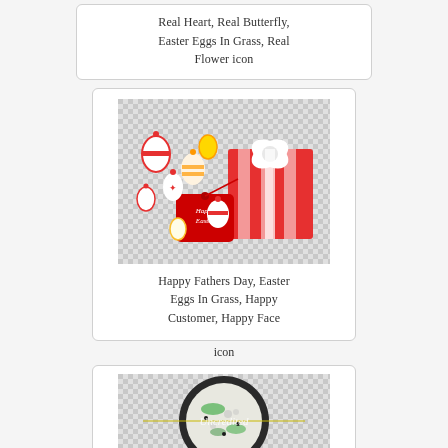Real Heart, Real Butterfly, Easter Eggs In Grass, Real Flower icon
[Figure (photo): Easter eggs decorated with red and white patterns, tied with ribbons, alongside a striped red and white gift box with a white bow, and a red Happy Easter tag. On a transparent/checkerboard background.]
Happy Fathers Day, Easter Eggs In Grass, Happy Customer, Happy Face icon
icon
[Figure (photo): A round food item (appears to be a creamy dish with herbs) on a dark plate, overlaid with the text 'Uncredited', on a transparent/checkerboard background.]